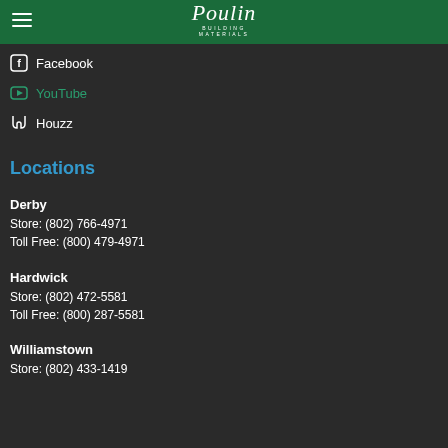Poulin Building Materials
Facebook
YouTube
Houzz
Locations
Derby
Store: (802) 766-4971
Toll Free: (800) 479-4971
Hardwick
Store: (802) 472-5581
Toll Free: (800) 287-5581
Williamstown
Store: (802) 433-1419